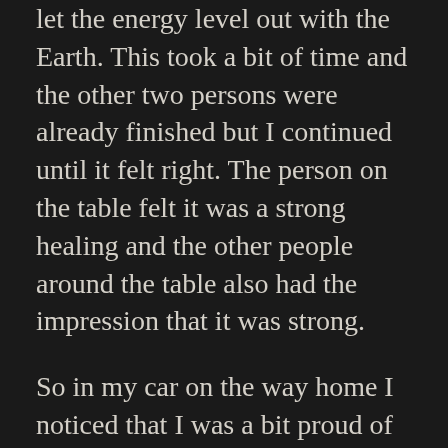let the energy level out with the Earth. This took a bit of time and the other two persons were already finished but I continued until it felt right. The person on the table felt it was a strong healing and the other people around the table also had the impression that it was strong.
So in my car on the way home I noticed that I was a bit proud of my strong energy. I realized this was not right as it is not my energy. I don't even really know what I'm doing. It all works best if I, Dennis, step aside and just let it all happen. My Higher Self and other beings work with the energy through me. If any credit is to be given to Dennis, it's for learning to step aside and not interfere.